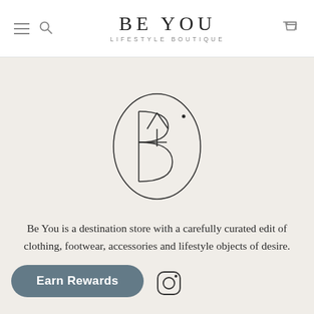[Figure (logo): BE YOU LIFESTYLE BOUTIQUE brand logo with hamburger menu and search icon on left, shopping cart icon on right]
[Figure (logo): Circular monogram logo with letters B and Y intertwined, outlined in thin black lines on beige background]
Be You is a destination store with a carefully curated edit of clothing, footwear, accessories and lifestyle objects of desire. We don't love it because we sell it....We sell it because we LOVE it!
[Figure (other): Earn Rewards button and Instagram icon at bottom of page]